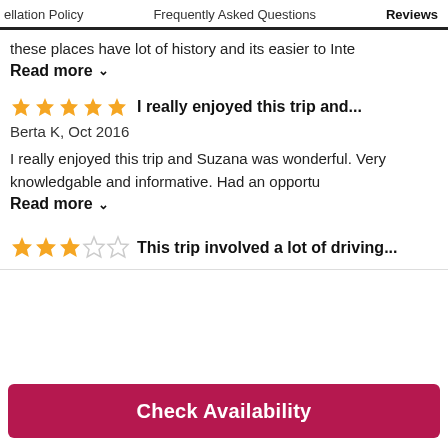ellation Policy   Frequently Asked Questions   Reviews
these places have lot of history and its easier to Inte
Read more ∨
★★★★★ I really enjoyed this trip and...
Berta K, Oct 2016
I really enjoyed this trip and Suzana was wonderful. Very knowledgable and informative. Had an opportu
Read more ∨
★★★☆☆ This trip involved a lot of driving...
Check Availability